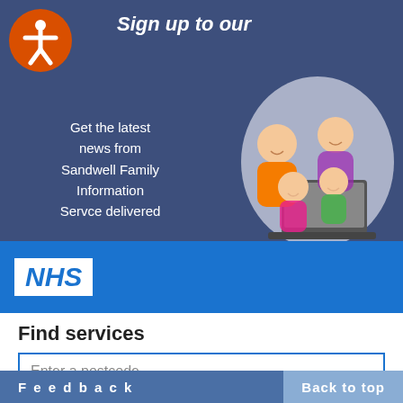[Figure (illustration): Dark blue/purple banner with 'Sign up to our' heading, family cartoon illustration with two adults and two children at a laptop, and accessibility icon (orange circle with white figure). Left side text reads: Get the latest news from Sandwell Family Information Servce delivered]
Sign up to our
Get the latest news from Sandwell Family Information Servce delivered
[Figure (logo): NHS logo — white background with blue italic bold NHS text]
Find services
Enter a postcode
▼ Select a service
Feedback   Back to top